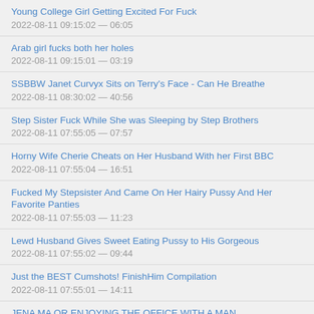Young College Girl Getting Excited For Fuck
2022-08-11 09:15:02 — 06:05
Arab girl fucks both her holes
2022-08-11 09:15:01 — 03:19
SSBBW Janet Curvyx Sits on Terry's Face - Can He Breathe
2022-08-11 08:30:02 — 40:56
Step Sister Fuck While She was Sleeping by Step Brothers
2022-08-11 07:55:05 — 07:57
Horny Wife Cherie Cheats on Her Husband With her First BBC
2022-08-11 07:55:04 — 16:51
Fucked My Stepsister And Came On Her Hairy Pussy And Her Favorite Panties
2022-08-11 07:55:03 — 11:23
Lewd Husband Gives Sweet Eating Pussy to His Gorgeous
2022-08-11 07:55:02 — 09:44
Just the BEST Cumshots! FinishHim Compilation
2022-08-11 07:55:01 — 14:11
JENA MALONE ENJOYING THE OFFICE WITH A MAN...